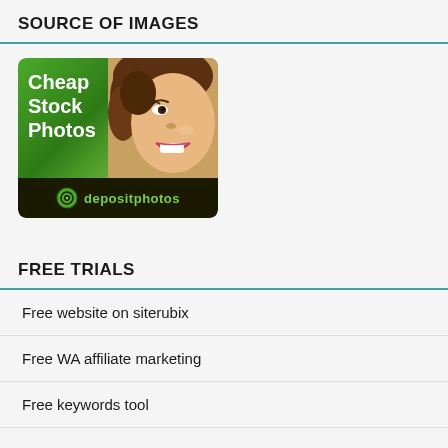SOURCE OF IMAGES
[Figure (photo): Depositphotos advertisement banner showing 'Cheap Stock Photos' with a smiling woman and the depositphotos logo]
FREE TRIALS
Free website on siterubix
Free WA affiliate marketing
Free keywords tool